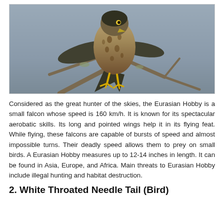[Figure (photo): A Eurasian Hobby (small falcon) perched on a bare branch, viewed from behind showing spotted/streaked brown and buff plumage, dark wings, and yellow feet. Gray background.]
Considered as the great hunter of the skies, the Eurasian Hobby is a small falcon whose speed is 160 km/h. It is known for its spectacular aerobatic skills. Its long and pointed wings help it in its flying feat. While flying, these falcons are capable of bursts of speed and almost impossible turns. Their deadly speed allows them to prey on small birds. A Eurasian Hobby measures up to 12-14 inches in length. It can be found in Asia, Europe, and Africa. Main threats to Eurasian Hobby include illegal hunting and habitat destruction.
2. White Throated Needle Tail (Bird)